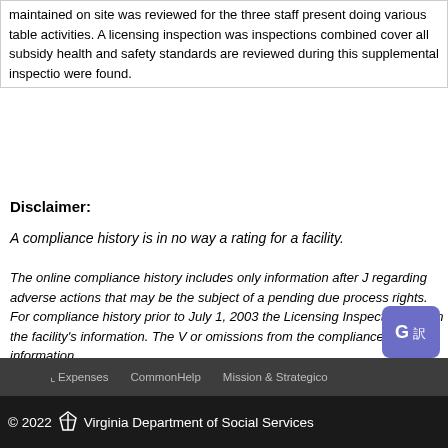| maintained on site was reviewed for the three staff present doing various table activities. A licensing inspection was inspections combined cover all subsidy health and safety standards are reviewed during this supplemental inspection were found. |
Disclaimer:
A compliance history is in no way a rating for a facility.
The online compliance history includes only information after J regarding adverse actions that may be the subject of a pending due process rights. For compliance history prior to July 1, 2003 the Licensing Inspector listed in the facility's information. The V or omissions from the compliance history information.
Virginia Quality is a voluntary quality rating and improvement sy pre-K. To find programs participating in Virginia Quality, click he
Expenses   CommonHelp   Mission & Strategic
© 2022 Virginia Department of Social Services